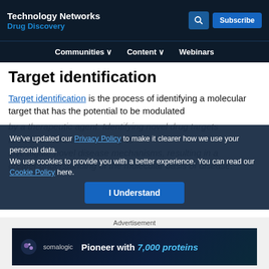Technology Networks Drug Discovery
Communities  Content  Webinars
Target identification
Target identification is the process of identifying a molecular target that has the potential to be modulated by a therapeutic agent. Identifying novel drug targets is often a more accurate way to investigate novel disease mechanisms, resulting in a greater understanding of the molecular basis of disease.
We've updated our Privacy Policy to make it clearer how we use your personal data.
We use cookies to provide you with a better experience. You can read our Cookie Policy here.
I Understand
Advertisement
[Figure (other): Somalogic advertisement banner: Pioneer with 7,000 proteins]